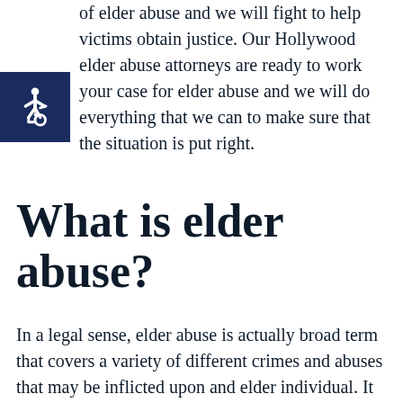of elder abuse and we will fight to help victims obtain justice. Our Hollywood elder abuse attorneys are ready to work your case for elder abuse and we will do everything that we can to make sure that the situation is put right.
[Figure (illustration): Accessibility wheelchair icon in white on a dark navy blue square background]
What is elder abuse?
In a legal sense, elder abuse is actually broad term that covers a variety of different crimes and abuses that may be inflicted upon and elder individual. It could be neglect or physical abuse at the hands of nursing home staff, it could be